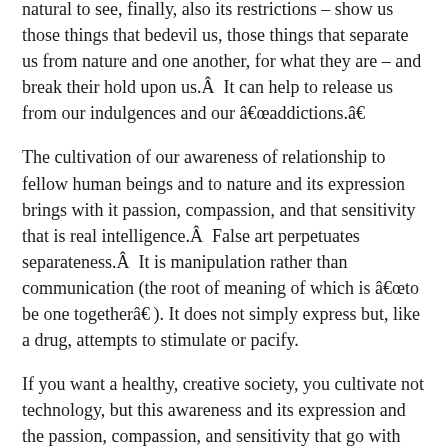natural  to  see,  finally,  also  its  restrictions  –  show  us  those things that bedevil us, those things that separate us from nature and one another, for what they are – and break their hold upon us.Â  It can help to release us from our indulgences and our â€œaddictions.â€
The cultivation of our awareness of relationship to fellow human beings and to nature and its expression brings with it passion, compassion, and that sensitivity that is real intelligence.Â  False art perpetuates separateness.Â  It is manipulation rather than communication (the root of meaning of which is â€œto be one togetherâ€ ). It does not simply express but, like a drug, attempts to stimulate or pacify.
If you want a healthy, creative society, you cultivate not technology, but this awareness and its expression and the passion, compassion, and sensitivity that go with them.Â  Technology can facilitate our relationships to one another and to nature, but if